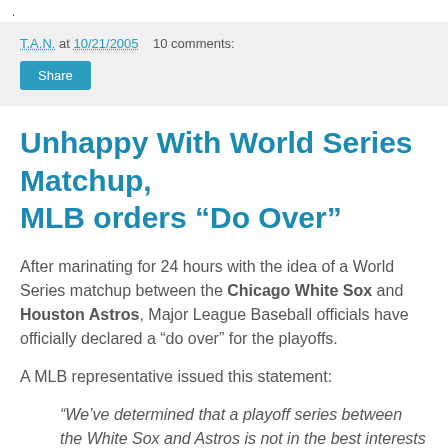.
T.A.N. at 10/21/2005   10 comments:
Unhappy With World Series Matchup, MLB orders “Do Over”
After marinating for 24 hours with the idea of a World Series matchup between the Chicago White Sox and Houston Astros, Major League Baseball officials have officially declared a “do over” for the playoffs.
A MLB representative issued this statement:
“We’ve determined that a playoff series between the White Sox and Astros is not in the best interests of baseball. We have declared a “do over” and everyone will once again vie for the